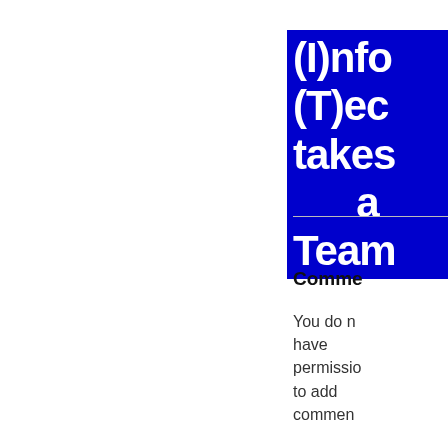(I)nfo (T)echnology takes a Team
Comments
You do not have permission to add comments.